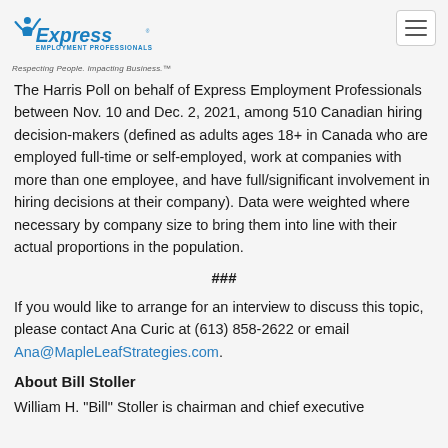Express Employment Professionals — Respecting People. Impacting Business.
The Harris Poll on behalf of Express Employment Professionals between Nov. 10 and Dec. 2, 2021, among 510 Canadian hiring decision-makers (defined as adults ages 18+ in Canada who are employed full-time or self-employed, work at companies with more than one employee, and have full/significant involvement in hiring decisions at their company). Data were weighted where necessary by company size to bring them into line with their actual proportions in the population.
###
If you would like to arrange for an interview to discuss this topic, please contact Ana Curic at (613) 858-2622 or email Ana@MapleLeafStrategies.com.
About Bill Stoller
William H. "Bill" Stoller is chairman and chief executive